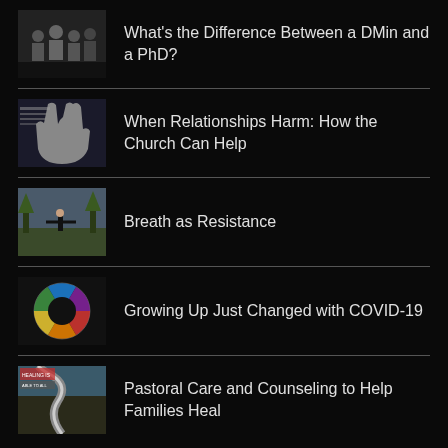What's the Difference Between a DMin and a PhD?
When Relationships Harm: How the Church Can Help
Breath as Resistance
Growing Up Just Changed with COVID-19
Pastoral Care and Counseling to Help Families Heal